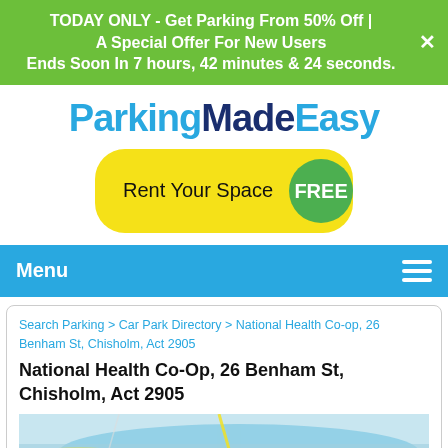TODAY ONLY - Get Parking From 50% Off | A Special Offer For New Users Ends Soon In 7 hours, 42 minutes & 24 seconds.
[Figure (logo): ParkingMadeEasy logo in blue and dark navy text]
[Figure (other): Yellow pill-shaped button reading 'Rent Your Space' with a green circle badge saying 'FREE']
Menu
Search Parking > Car Park Directory > National Health Co-op, 26 Benham St, Chisholm, Act 2905
National Health Co-Op, 26 Benham St, Chisholm, Act 2905
[Figure (map): Google Maps view showing Chisholm area near Canberra, with water features and road network visible]